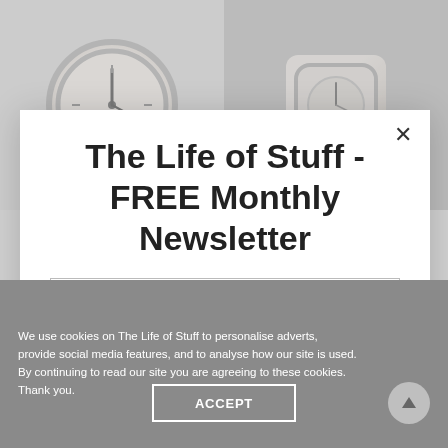[Figure (screenshot): Background page with two watch/clock images at the top, partially visible behind a modal overlay. Left side shows a round clock face, right side shows a watch.]
The Life of Stuff - FREE Monthly Newsletter
Your E-Mail
SUBSCRIBE NOW
THE IDEA
We use cookies on The Life of Stuff to personalise adverts, provide social media features, and to analyse how our site is used. By continuing to read our site you are agreeing to these cookies. Thank you.
ACCEPT